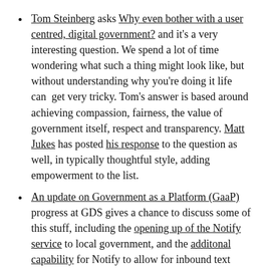Tom Steinberg asks Why even bother with a user centred, digital government? and it's a very interesting question. We spend a lot of time wondering what such a thing might look like, but without understanding why you're doing it life can  get very tricky. Tom's answer is based around achieving compassion, fairness, the value of government itself, respect and transparency. Matt Jukes has posted his response to the question as well, in typically thoughtful style, adding empowerment to the list.
An update on Government as a Platform (GaaP) progress at GDS gives a chance to discuss some of this stuff, including the opening up of the Notify service to local government, and the additonal capability for Notify to allow for inbound text messaging and the sending out of postal letters. Now, I wrote about GaaP a little while ago, and